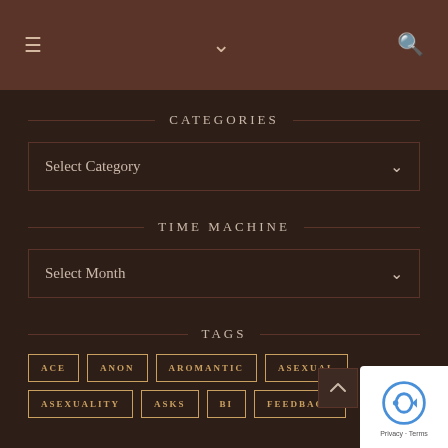≡  ∨  🔍
CATEGORIES
Select Category
TIME MACHINE
Select Month
TAGS
ACE
ANON
AROMANTIC
ASEXUAL
ASEXUALITY
ASKS
BI
FEEDBACK